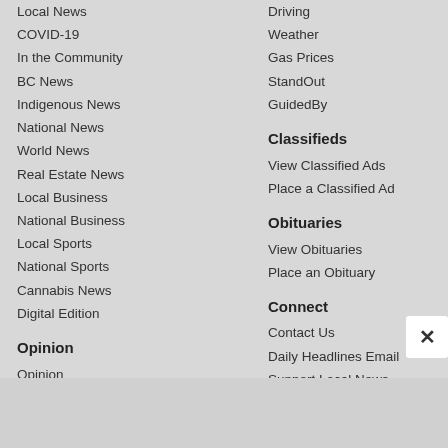Local News
COVID-19
In the Community
BC News
Indigenous News
National News
World News
Real Estate News
Local Business
National Business
Local Sports
National Sports
Cannabis News
Digital Edition
Opinion
Opinion
Send us a letter
Arts & Life
Driving
Weather
Gas Prices
StandOut
GuidedBy
Classifieds
View Classified Ads
Place a Classified Ad
Obituaries
View Obituaries
Place an Obituary
Connect
Contact Us
Daily Headlines Email
Support Local News
Best of Richmond